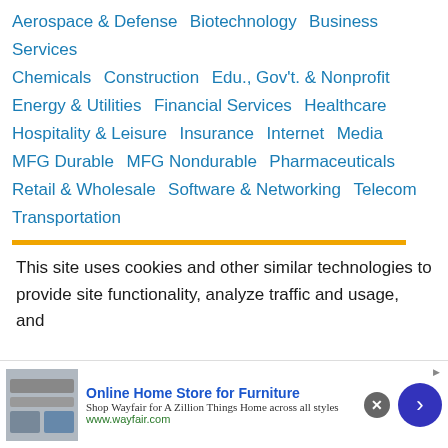Aerospace & Defense   Biotechnology   Business Services   Chemicals   Construction   Edu., Gov't. & Nonprofit   Energy & Utilities   Financial Services   Healthcare   Hospitality & Leisure   Insurance   Internet   Media   MFG Durable   MFG Nondurable   Pharmaceuticals   Retail & Wholesale   Software & Networking   Telecom   Transportation
This site uses cookies and other similar technologies to provide site functionality, analyze traffic and usage, and
Online Home Store for Furniture
Shop Wayfair for A Zillion Things Home across all styles
www.wayfair.com